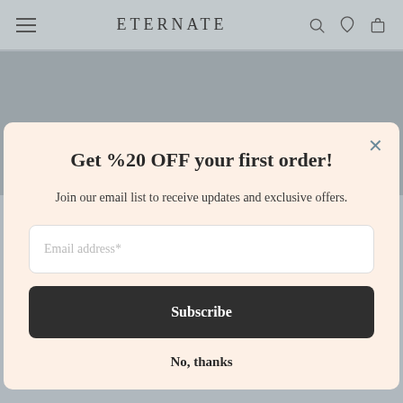ETERNATE
Get %20 OFF your first order!
Join our email list to receive updates and exclusive offers.
Email address*
Subscribe
No, thanks